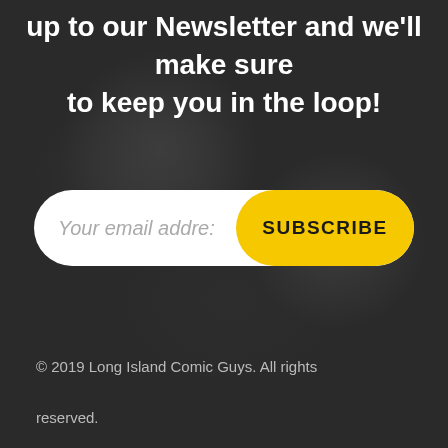up to our Newsletter and we'll make sure to keep you in the loop!
[Figure (other): Newsletter subscription form with email input field showing placeholder 'Your email addre:' and a yellow 'SUBSCRIBE' button, all on a rounded pill-shaped white background]
© 2019 Long Island Comic Guys. All rights reserved.